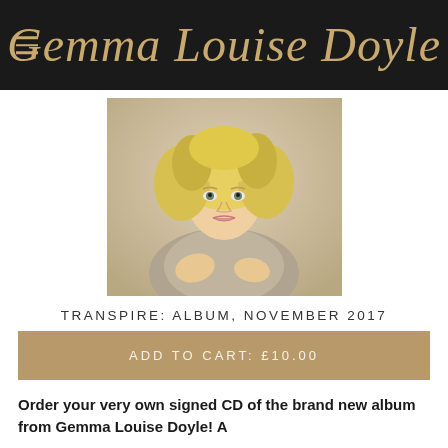Gemma Louise Doyle
[Figure (photo): Portrait photo of Gemma Louise Doyle, a woman with curly blonde hair wearing a light grey/beige knit wrap top, posed against a neutral background]
TRANSPIRE: ALBUM, NOVEMBER 2017
ADD TO CART: £10.00
Order your very own signed CD of the brand new album from Gemma Louise Doyle! A